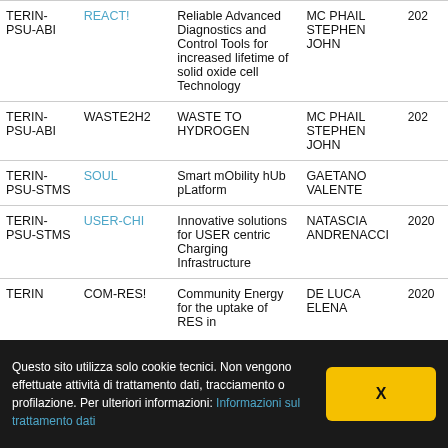|  |  |  |  |  |
| --- | --- | --- | --- | --- |
| TERIN-PSU-ABI | REACT! | Reliable Advanced Diagnostics and Control Tools for increased lifetime of solid oxide cell Technology | MC PHAIL STEPHEN JOHN | 202 |
| TERIN-PSU-ABI | WASTE2H2 | WASTE TO HYDROGEN | MC PHAIL STEPHEN JOHN | 202 |
| TERIN-PSU-STMS | SOUL | Smart mObility hUb pLatform | GAETANO VALENTE |  |
| TERIN-PSU-STMS | USER-CHI | Innovative solutions for USER centric Charging Infrastructure | NATASCIA ANDRENACCI | 2020 |
| TERIN | COM-RES! | Community Energy for the uptake of RES in | DE LUCA ELENA | 2020 |
Questo sito utilizza solo cookie tecnici. Non vengono effettuate attività di trattamento dati, tracciamento o profilazione. Per ulteriori informazioni: Informazioni sul trattamento dati